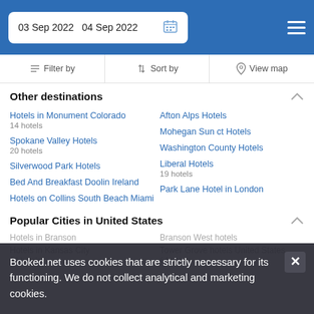03 Sep 2022  04 Sep 2022
Filter by  Sort by  View map
Other destinations
Hotels in Monument Colorado
14 hotels
Afton Alps Hotels
Spokane Valley Hotels
20 hotels
Mohegan Sun ct Hotels
Silverwood Park Hotels
Washington County Hotels
Bed And Breakfast Doolin Ireland
Liberal Hotels
19 hotels
Hotels on Collins South Beach Miami
Park Lane Hotel in London
Popular Cities in United States
Hotels in Branson
Branson West hotels
Hotels in Kansas City
Tower Grove hotels United States
64 hotels
Booked.net uses cookies that are strictly necessary for its functioning. We do not collect analytical and marketing cookies.